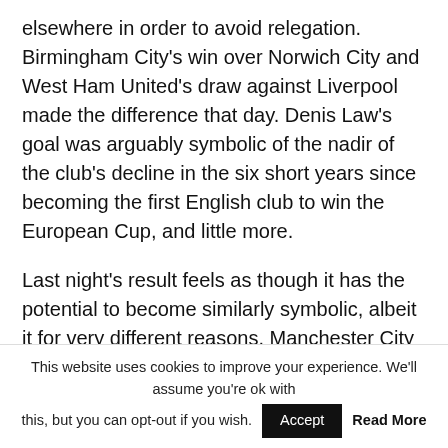elsewhere in order to avoid relegation. Birmingham City's win over Norwich City and West Ham United's draw against Liverpool made the difference that day. Denis Law's goal was arguably symbolic of the nadir of the club's decline in the six short years since becoming the first English club to win the European Cup, and little more.
Last night's result feels as though it has the potential to become similarly symbolic, albeit it for very different reasons. Manchester City will still win the Premier League title, but yesterday evening at the Etihad Stadium Manchester United became the noisy neighbours, taking the gloss off what many were
This website uses cookies to improve your experience. We'll assume you're ok with this, but you can opt-out if you wish. Accept Read More